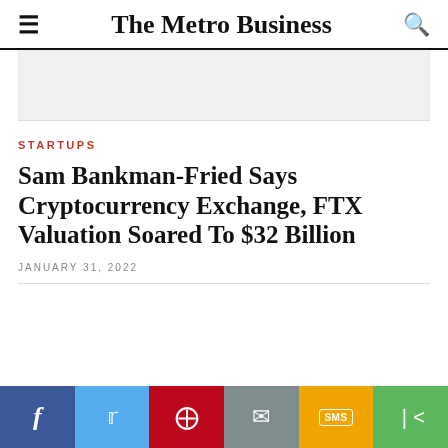The Metro Business
STARTUPS
Sam Bankman-Fried Says Cryptocurrency Exchange, FTX Valuation Soared To $32 Billion
JANUARY 31, 2022